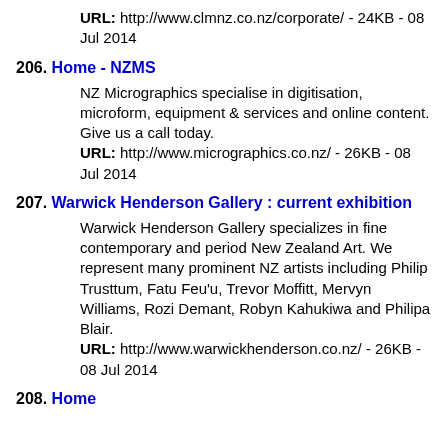URL: http://www.clmnz.co.nz/corporate/ - 24KB - 08 Jul 2014
206. Home - NZMS
NZ Micrographics specialise in digitisation, microform, equipment & services and online content. Give us a call today.
URL: http://www.micrographics.co.nz/ - 26KB - 08 Jul 2014
207. Warwick Henderson Gallery : current exhibition
Warwick Henderson Gallery specializes in fine contemporary and period New Zealand Art. We represent many prominent NZ artists including Philip Trusttum, Fatu Feu'u, Trevor Moffitt, Mervyn Williams, Rozi Demant, Robyn Kahukiwa and Philipa Blair.
URL: http://www.warwickhenderson.co.nz/ - 26KB - 08 Jul 2014
208. Home